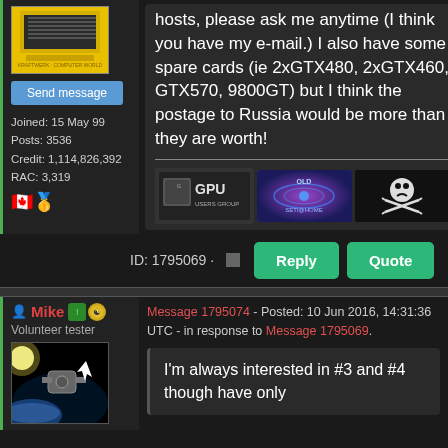hosts, please ask me anytime (I think you have my e-mail.) I also have some spare cards (ie 2xGTX480, 2xGTX460, GTX570, 9800GT) but I think the postage to Russia would be more than they are worth!
[Figure (screenshot): Signature banners: GPU Users Group logo, SETI@home banner, Jolly Roger pirate flag]
Send message
Joined: 15 May 99
Posts: 3536
Credit: 1,114,826,392
RAC: 3,319
ID: 1795069 · Reply Quote
Mike Volunteer tester
Message 1795074 - Posted: 10 Jun 2016, 14:31:36 UTC - in response to Message 1795069.
I'm always interested in #3 and #4 though have only